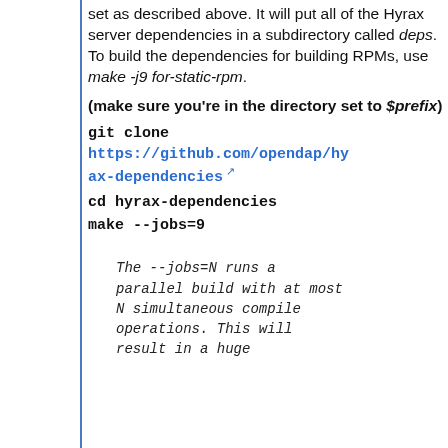set as described above. It will put all of the Hyrax server dependencies in a subdirectory called deps. To build the dependencies for building RPMs, use make -j9 for-static-rpm.
(make sure you're in the directory set to $prefix)
git clone https://github.com/opendap/hyrax-dependencies
cd hyrax-dependencies
make --jobs=9
The --jobs=N runs a parallel build with at most N simultaneous compile operations. This will result in a huge